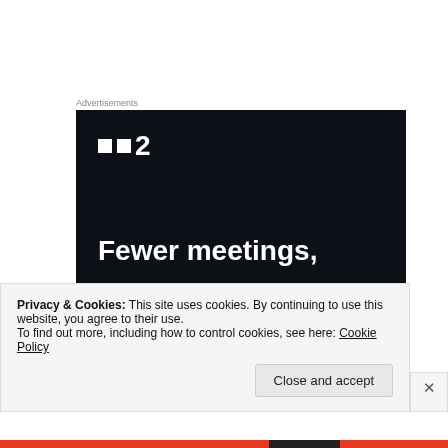[Figure (screenshot): Advertisement banner with dark navy background showing a logo with two squares and '2', and text 'Fewer meetings,' in bold white]
YOU MADE IT TO THE END! THANK YOU!!!!
Privacy & Cookies: This site uses cookies. By continuing to use this website, you agree to their use. To find out more, including how to control cookies, see here: Cookie Policy
Close and accept